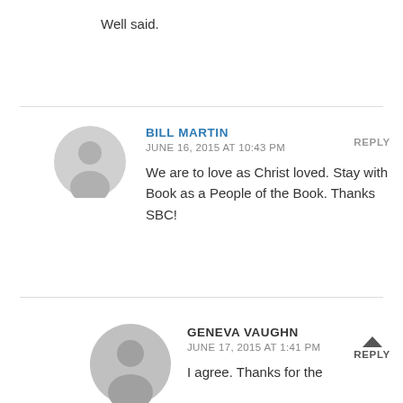Well said.
BILL MARTIN
JUNE 16, 2015 AT 10:43 PM
We are to love as Christ loved. Stay with Book as a People of the Book. Thanks SBC!
REPLY
GENEVA VAUGHN
JUNE 17, 2015 AT 1:41 PM
I agree. Thanks for the
REPLY